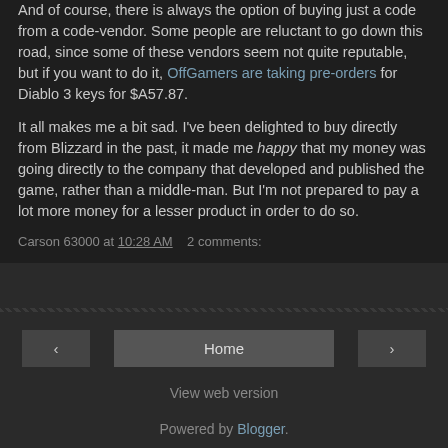And of course, there is always the option of buying just a code from a code-vendor. Some people are reluctant to go down this road, since some of these vendors seem not quite reputable, but if you want to do it, OffGamers are taking pre-orders for Diablo 3 keys for $A57.87.
It all makes me a bit sad. I've been delighted to buy directly from Blizzard in the past, it made me happy that my money was going directly to the company that developed and published the game, rather than a middle-man. But I'm not prepared to pay a lot more money for a lesser product in order to do so.
Carson 63000 at 10:28 AM   2 comments:
Home
View web version
Powered by Blogger.